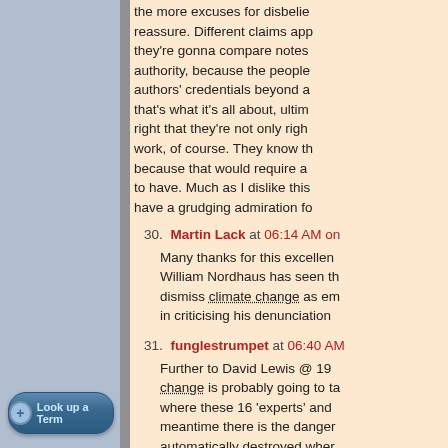the more excuses for disbelie reassure. Different claims app they're gonna compare notes authority, because the people authors' credentials beyond a that's what it's all about, ultim right that they're not only righ work, of course. They know th because that would require a to have. Much as I dislike this have a grudging admiration fo
30. Martin Lack at 06:14 AM on — Many thanks for this excellen William Nordhaus has seen th dismiss climate change as em in criticising his denunciation
31. funglestrumpet at 06:40 AM — Further to David Lewis @ 19 change is probably going to t where these 16 'experts' and meantime there is the danger automatically destroyed wher moment. With that in mind, ar